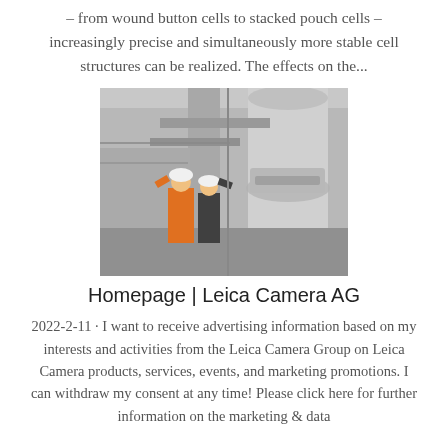– from wound button cells to stacked pouch cells – increasingly precise and simultaneously more stable cell structures can be realized. The effects on the...
[Figure (photo): Two workers in hard hats and high-visibility vests standing in front of large industrial machinery, possibly a cement or mining plant.]
Homepage | Leica Camera AG
2022-2-11 · I want to receive advertising information based on my interests and activities from the Leica Camera Group on Leica Camera products, services, events, and marketing promotions. I can withdraw my consent at any time! Please click here for further information on the marketing & data